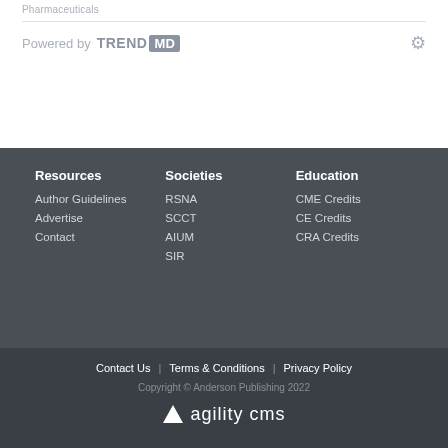Pharmaceuticals
[Figure (logo): Powered by TrendMD logo with gear icon]
Resources
Author Guidelines
Advertise
Contact
Societies
RSNA
SCCT
AIUM
SIR
Education
CME Credits
CE Credits
CRA Credits
Contact Us | Terms & Conditions | Privacy Policy
Copyright © Anderson Publishing 2022
[Figure (logo): Agility CMS logo with triangle and text]